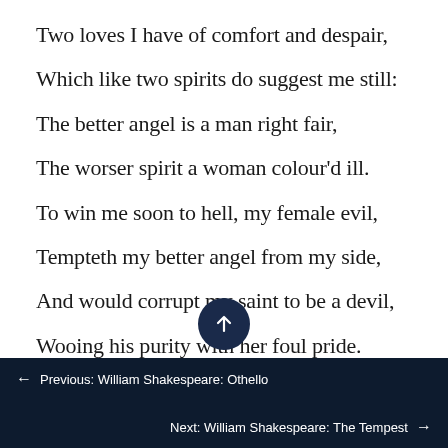Two loves I have of comfort and despair,
Which like two spirits do suggest me still:
The better angel is a man right fair,
The worser spirit a woman colour'd ill.
To win me soon to hell, my female evil,
Tempteth my better angel from my side,
And would corrupt my saint to be a devil,
Wooing his purity with her foul pride.
← Previous: William Shakespeare: Othello   Next: William Shakespeare: The Tempest →